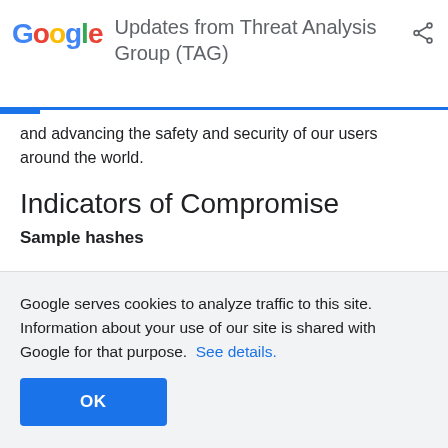Updates from Threat Analysis Group (TAG)
and advancing the safety and security of our users around the world.
Indicators of Compromise
Sample hashes
APK available on VirusTotal:
Google serves cookies to analyze traffic to this site. Information about your use of our site is shared with Google for that purpose. See details.